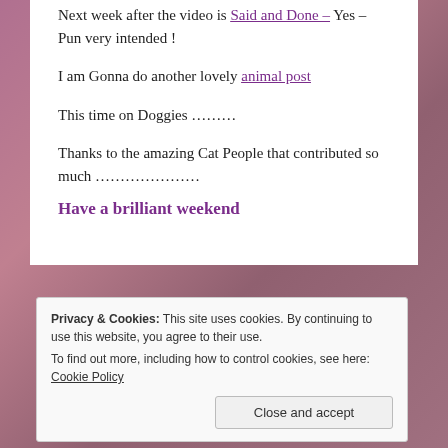Next week after the video is Said and Done – Yes – Pun very intended !
I am Gonna do another lovely animal post
This time on Doggies ………
Thanks to the amazing Cat People that contributed so much ………………
Have a brilliant weekend
Privacy & Cookies: This site uses cookies. By continuing to use this website, you agree to their use. To find out more, including how to control cookies, see here: Cookie Policy